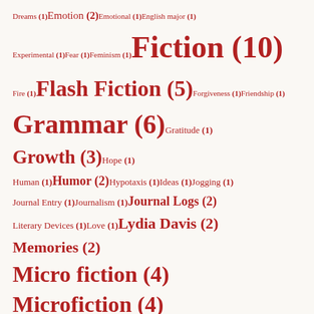[Figure (other): Tag cloud of writing/literature topics with font size proportional to count. Tags include: Dreams (1), Emotion (2), Emotional (1), English major (1), Experimental (1), Fear (1), Feminism (1), Fiction (10), Fire (1), Flash Fiction (5), Forgiveness (1), Friendship (1), Grammar (6), Gratitude (1), Growth (3), Hope (1), Human (1), Humor (2), Hypotaxis (1), Ideas (1), Jogging (1), Journal Entry (1), Journalism (1), Journal Logs (2), Literary Devices (1), Love (1), Lydia Davis (2), Memories (2), Micro fiction (4), Microfiction (4), Mindfulness (1), Nature (1), Nightmare (1), Nonfiction (2), Nostalgia (1), Opinion (1), Personal Essay (1), Philosophy (2), Positivity (1), Practice (2), Prose (17), Prose Style (13), Purple Prose (2), Reference Fiction (1), Reflection (8), Running (1)]